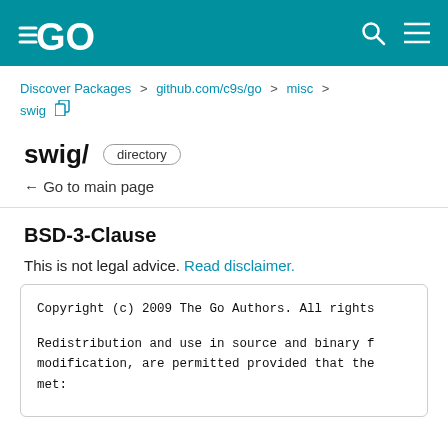GO (logo)
Discover Packages > github.com/c9s/go > misc > swig
swig/ directory
← Go to main page
BSD-3-Clause
This is not legal advice. Read disclaimer.
Copyright (c) 2009 The Go Authors. All rights

Redistribution and use in source and binary f modification, are permitted provided that the met: